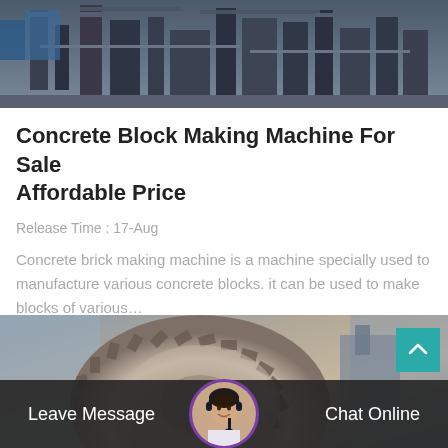[Figure (photo): Industrial factory machinery photo at top of first card]
Concrete Block Making Machine For Sale Affordable Price
Release Time : 17-Aug
Concrete brick making machine is a machine specially used to manufacture various concrete blocks. it can be used to make blocks of various...
[Figure (photo): Large industrial machinery (mill/grinder) photo in second card]
Leave Message
Chat Online